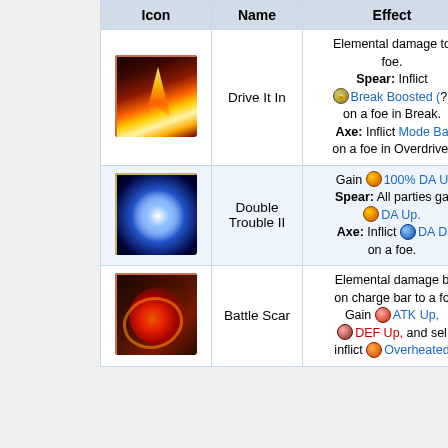| Icon | Name | Effect |
| --- | --- | --- |
| [fire icon] | Drive It In | Elemental damage to foe. Spear: Inflict Break Boosted (?) on a foe in Break. Axe: Inflict Mode Ba... on a foe in Overdrive. |
| [blue star icon] | Double Trouble II | Gain 100% DA U... Spear: All parties ga... DA Up. Axe: Inflict DA D... on a foe. |
| [swirl icon] | Battle Scar | Elemental damage b... on charge bar to a fo... Gain ATK Up, DEF Up, and sel... inflict Overheated... |